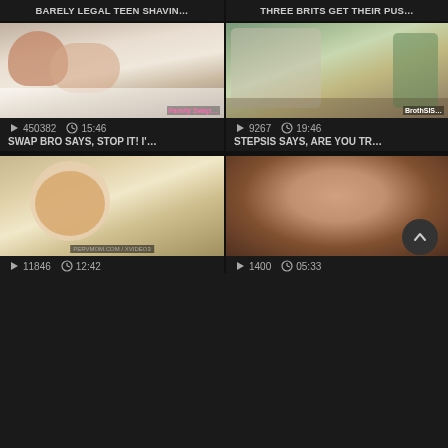BARELY LEGAL TEEN SHAVIN...
THREE BRITS GET THEIR PUS...
[Figure (photo): Video thumbnail showing two people in bed]
[Figure (photo): Video thumbnail showing people in a kitchen]
450382  15:46
9267  19:46
SWAP BRO SAYS, STOP IT! I'...
STEPSIS SAYS, ARE YOU TR...
[Figure (photo): Video thumbnail showing a blonde person]
[Figure (photo): Video thumbnail showing close-up body]
11846  12:42
1400  05:33